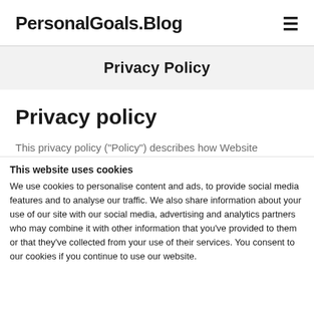PersonalGoals.Blog
Privacy Policy
Privacy policy
This privacy policy ("Policy") describes how Website
This website uses cookies
We use cookies to personalise content and ads, to provide social media features and to analyse our traffic. We also share information about your use of our site with our social media, advertising and analytics partners who may combine it with other information that you've provided to them or that they've collected from your use of their services. You consent to our cookies if you continue to use our website.